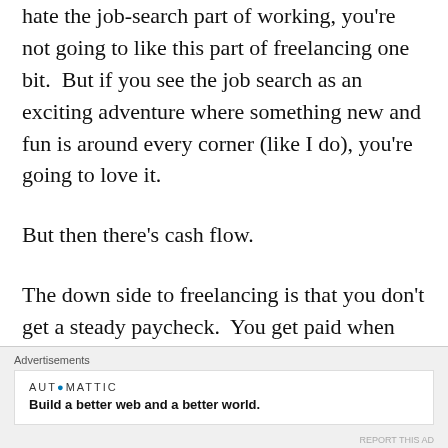hate the job-search part of working, you're not going to like this part of freelancing one bit.  But if you see the job search as an exciting adventure where something new and fun is around every corner (like I do), you're going to love it.
But then there's cash flow.
The down side to freelancing is that you don't get a steady paycheck.  You get paid when the work is finished.  If you're a subcontractor
Advertisements
AUTOMATTIC
Build a better web and a better world.
REPORT THIS AD